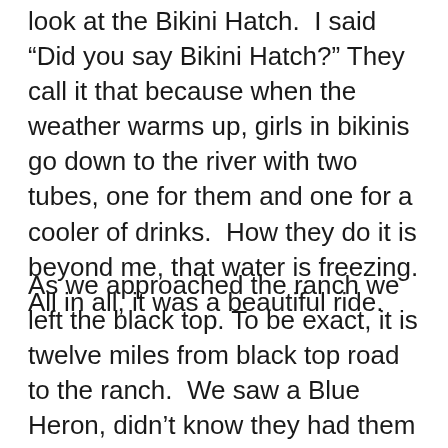look at the Bikini Hatch.  I said "Did you say Bikini Hatch?" They call it that because when the weather warms up, girls in bikinis go down to the river with two tubes, one for them and one for a cooler of drinks.  How they do it is beyond me, that water is freezing. All in all, it was a beautiful ride.
As we approached the ranch we left the black top. To be exact, it is twelve miles from black top road to the ranch.  We saw a Blue Heron, didn't know they had them in Montana, turkeys, and just before the ranch we saw Ted Turner's bison.  His ranch is right below the Upper Canyon Ranch. I asked Jake, since he said he knew him, what kind of man Ted Turner was and he answered, "A real